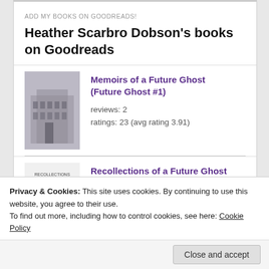ADD MY BOOKS ON GOODREADS!
Heather Scarbro Dobson's books on Goodreads
[Figure (photo): Book cover for Memoirs of a Future Ghost (Future Ghost #1)]
Memoirs of a Future Ghost (Future Ghost #1)
reviews: 2
ratings: 23 (avg rating 3.91)
[Figure (photo): Book cover for Recollections of a Future Ghost (Future Ghost #2)]
Recollections of a Future Ghost (Future Ghost #2)
reviews: 1
ratings: 2 (avg rating 4.50)
Privacy & Cookies: This site uses cookies. By continuing to use this website, you agree to their use.
To find out more, including how to control cookies, see here: Cookie Policy
Close and accept